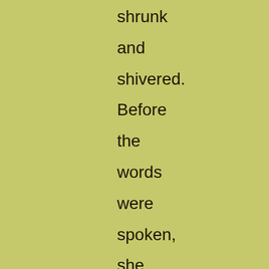shrunk and shivered. Before the words were spoken, she was standing with her hand upon the velvet back of a